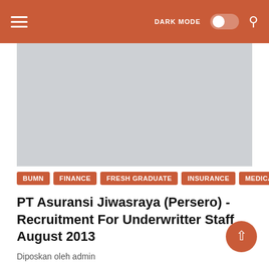DARK MODE  [toggle]  [search icon]
[Figure (photo): Gray placeholder image banner at top of article]
BUMN
FINANCE
FRESH GRADUATE
INSURANCE
MEDICAL
S1
PT Asuransi Jiwasraya (Persero) - Recruitment For Underwritter Staff August 2013
Diposkan oleh admin
courtesy:progresivenews.com cdcindonesia.com - We do not want to linger longer for informatio… Baca Selengkapnya »